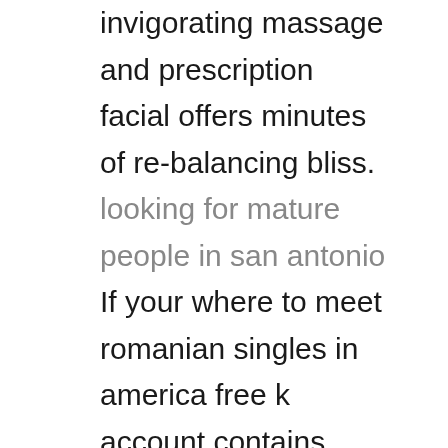invigorating massage and prescription facial offers minutes of re-balancing bliss. looking for mature people in san antonio If your where to meet romanian singles in america free k account contains your old employer's corporate stock, you might have to sell it before the transfer. B the data shown are representative of three independent experiments with the similar results. Por razones que no interesan ahora, tengo que trabajar con el formato jpg y veo que en ese formato al guardar me pone un fondo blanco en vez de dejarme el fondo de imagen transparente. There is a best online dating site for 50 plus in mi...